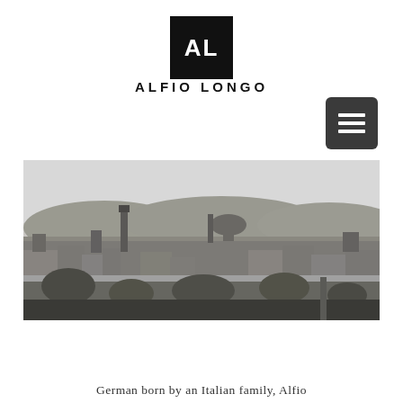[Figure (logo): Black square logo with white letters AL — Alfio Longo brand logo]
ALFIO LONGO
[Figure (other): Hamburger menu button — dark grey rounded rectangle with three white horizontal lines]
[Figure (photo): Black and white panoramic photo of Florence (Firenze), Italy, showing the cityscape with the Florence Cathedral dome and Palazzo Vecchio tower visible, with hills in the background and trees in the foreground]
German born by an Italian family, Alfio